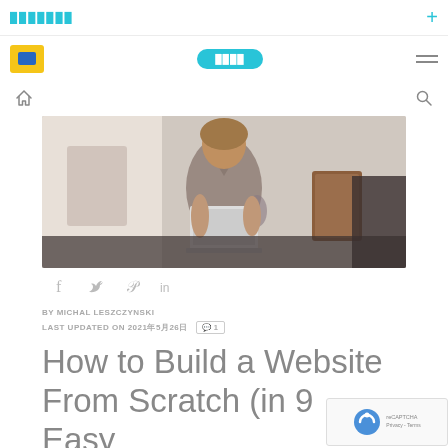███████  +
[Figure (screenshot): Navigation bar with yellow logo box, cyan button with text, and hamburger menu]
[Figure (photo): Woman sitting on a couch working on a laptop, with a brown book/tablet nearby, in a casual home setting]
f  𝐭  𝒫  in
BY MICHAL LESZCZYNSKI
LAST UPDATED ON 2021年5月26日  💬 1
How to Build a Website From Scratch (in 9 Easy Steps)